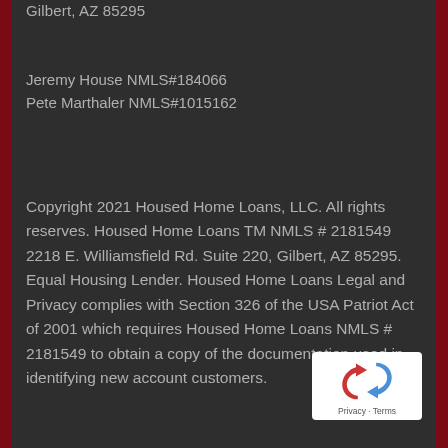Gilbert, AZ 85295
Jeremy House NMLS#184066
Pete Marthaler NMLS#1015162
Copyright 2021 Housed Home Loans, LLC. All rights reserves. Housed Home Loans TM NMLS # 2181549 2218 E. Williamsfield Rd. Suite 220, Gilbert, AZ 85295. Equal Housing Lender. Housed Home Loans Legal and Privacy complies with Section 326 of the USA Patriot Act of 2001 which requires Housed Home Loans NMLS # 2181549 to obtain a copy of the documentation used in identifying new account customers.
[Figure (other): reCAPTCHA badge with Privacy and Terms links]